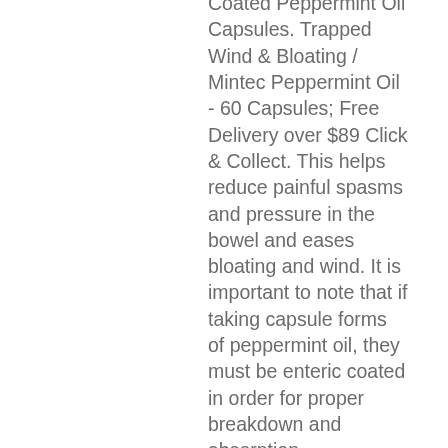Coated Peppermint Oil Capsules. Trapped Wind & Bloating / Mintec Peppermint Oil - 60 Capsules; Free Delivery over $89 Click & Collect. This helps reduce painful spasms and pressure in the bowel and eases bloating and wind. It is important to note that if taking capsule forms of peppermint oil, they must be enteric coated in order for proper breakdown and absorption. Peppermint oil acts as an antispasmodic and relaxes the smooth muscles in the intestine as well as